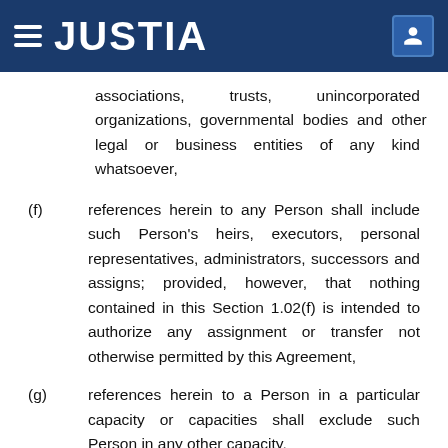JUSTIA
associations, trusts, unincorporated organizations, governmental bodies and other legal or business entities of any kind whatsoever,
(f) references herein to any Person shall include such Person’s heirs, executors, personal representatives, administrators, successors and assigns; provided, however, that nothing contained in this Section 1.02(f) is intended to authorize any assignment or transfer not otherwise permitted by this Agreement,
(g) references herein to a Person in a particular capacity or capacities shall exclude such Person in any other capacity,